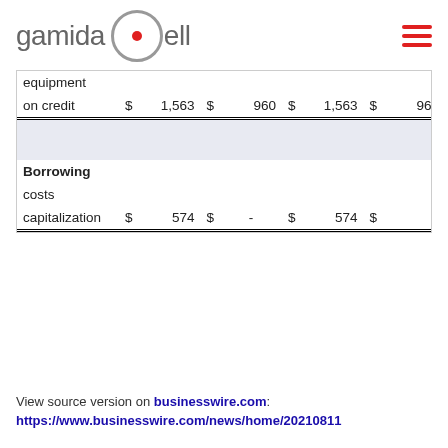[Figure (logo): Gamida Cell logo with red dot and circle]
| equipment |  |  |  |  |  |  |  |  |
| on credit | $ | 1,563 | $ | 960 | $ | 1,563 | $ | 960 |
|  |  |  |  |  |  |  |  |  |
| Borrowing |  |  |  |  |  |  |  |  |
| costs |  |  |  |  |  |  |  |  |
| capitalization | $ | 574 | $ | - | $ | 574 | $ |  |
View source version on businesswire.com:
https://www.businesswire.com/news/home/20210811